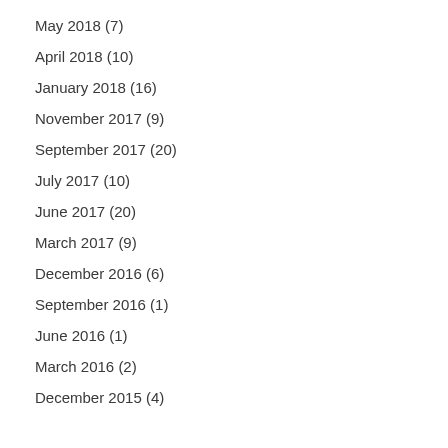May 2018 (7)
April 2018 (10)
January 2018 (16)
November 2017 (9)
September 2017 (20)
July 2017 (10)
June 2017 (20)
March 2017 (9)
December 2016 (6)
September 2016 (1)
June 2016 (1)
March 2016 (2)
December 2015 (4)